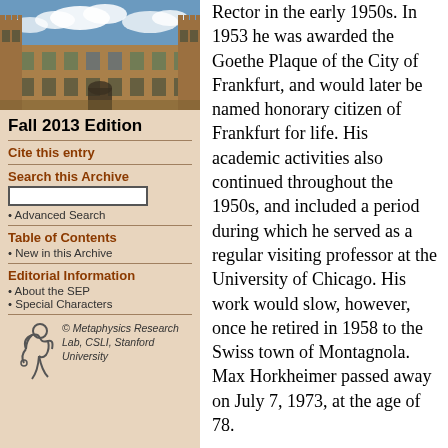[Figure (photo): Photo of a historic university building with Gothic/sandstone architecture against a cloudy blue sky]
Fall 2013 Edition
Cite this entry
Search this Archive
Advanced Search
Table of Contents
New in this Archive
Editorial Information
About the SEP
Special Characters
[Figure (logo): Metaphysics Research Lab logo — stylized figure with text: © Metaphysics Research Lab, CSLI, Stanford University]
Rector in the early 1950s. In 1953 he was awarded the Goethe Plaque of the City of Frankfurt, and would later be named honorary citizen of Frankfurt for life. His academic activities also continued throughout the 1950s, and included a period during which he served as a regular visiting professor at the University of Chicago. His work would slow, however, once he retired in 1958 to the Swiss town of Montagnola. Max Horkheimer passed away on July 7, 1973, at the age of 78.
2. Materialism and The Early Program of the Institute of Social